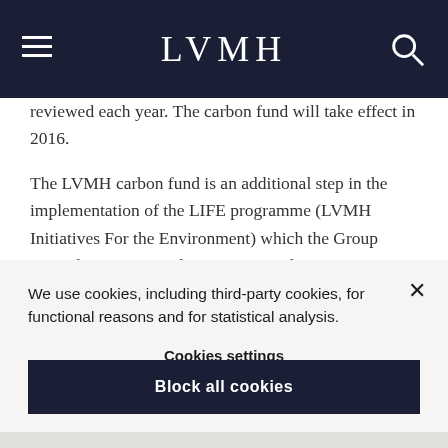LVMH
reviewed each year. The carbon fund will take effect in 2016.

The LVMH carbon fund is an additional step in the implementation of the LIFE programme (LVMH Initiatives For the Environment) which the Group created in 2013 in order to integrate the environment into
We use cookies, including third-party cookies, for functional reasons and for statistical analysis.
Cookies settings
Block all cookies